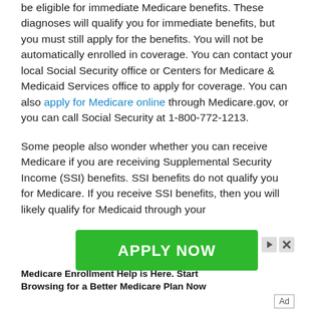be eligible for immediate Medicare benefits. These diagnoses will qualify you for immediate benefits, but you must still apply for the benefits. You will not be automatically enrolled in coverage. You can contact your local Social Security office or Centers for Medicare & Medicaid Services office to apply for coverage. You can also apply for Medicare online through Medicare.gov, or you can call Social Security at 1-800-772-1213.
Some people also wonder whether you can receive Medicare if you are receiving Supplemental Security Income (SSI) benefits. SSI benefits do not qualify you for Medicare. If you receive SSI benefits, then you will likely qualify for Medicaid through your
[Figure (infographic): Green 'APPLY NOW' advertisement banner with ad controls (play/close buttons) in upper right corner]
Medicare Enrollment Help is Here. Start Browsing for a Better Medicare Plan Now
Ad